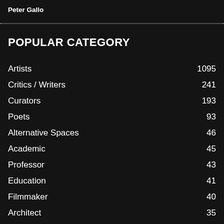Peter Gallo
POPULAR CATEGORY
Artists 1095
Critics / Writers 241
Curators 193
Poets 93
Alternative Spaces 46
Academic 45
Professor 43
Education 41
Filmmaker 40
Architect 35